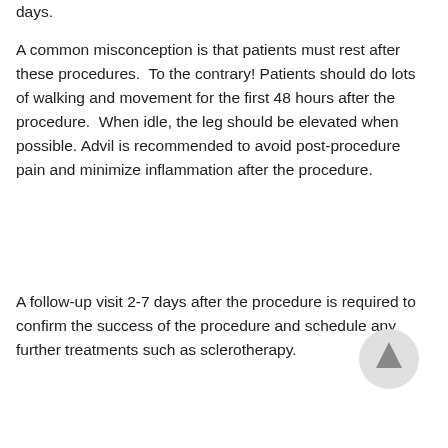days.
A common misconception is that patients must rest after these procedures.  To the contrary! Patients should do lots of walking and movement for the first 48 hours after the procedure.  When idle, the leg should be elevated when possible. Advil is recommended to avoid post-procedure pain and minimize inflammation after the procedure.
A follow-up visit 2-7 days after the procedure is required to confirm the success of the procedure and schedule any further treatments such as sclerotherapy.